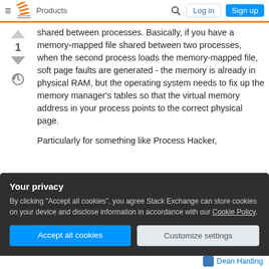Stack Overflow navigation bar with Products link, search, Log in, Sign up
shared between processes. Basically, if you have a memory-mapped file shared between two processes, when the second process loads the memory-mapped file, soft page faults are generated - the memory is already in physical RAM, but the operating system needs to fix up the memory manager's tables so that the virtual memory address in your process points to the correct physical page.
Particularly for something like Process Hacker,
Your privacy
By clicking "Accept all cookies", you agree Stack Exchange can store cookies on your device and disclose information in accordance with our Cookie Policy.
Accept all cookies  Customize settings
Dean Harding